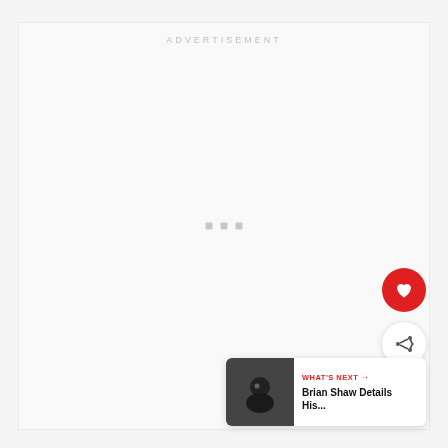[Figure (other): Advertisement placeholder area with light gray background and three small gray squares centered in the middle]
[Figure (other): Red circular heart/favorite button (floating action button)]
[Figure (other): White circular share button with share icon]
WHAT'S NEXT → Brian Shaw Details His...